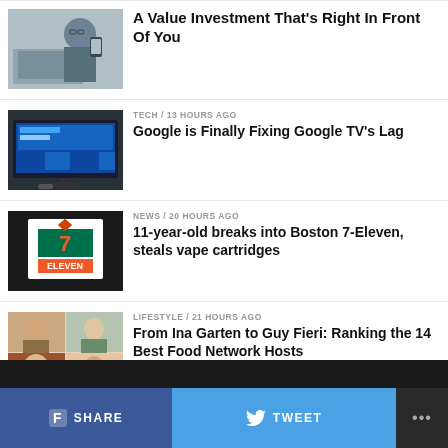[Figure (photo): Man working at laptop while holding smartphone]
A Value Investment That's Right In Front Of You
TECH / 13 hours ago
[Figure (photo): TV displaying Google TV interface in a living room]
Google is Finally Fixing Google TV's Lag
NEWS / 20 hours ago
[Figure (photo): 7-Eleven store sign with bow tie decoration]
11-year-old breaks into Boston 7-Eleven, steals vape cartridges
LIFESTYLE / 21 hours ago
[Figure (photo): Collage of Food Network hosts including Ina Garten and Guy Fieri]
From Ina Garten to Guy Fieri: Ranking the 14 Best Food Network Hosts
SHARE   TWEET   ...